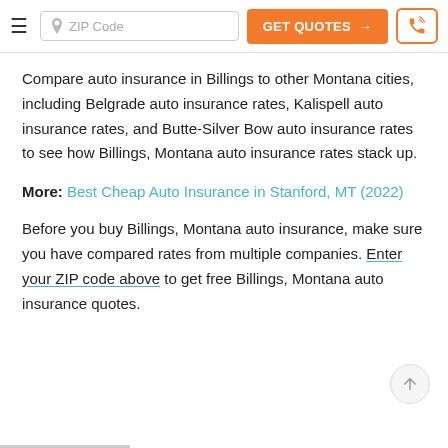ZIP Code | GET QUOTES → | [phone icon]
Compare auto insurance in Billings to other Montana cities, including Belgrade auto insurance rates, Kalispell auto insurance rates, and Butte-Silver Bow auto insurance rates to see how Billings, Montana auto insurance rates stack up.
More: Best Cheap Auto Insurance in Stanford, MT (2022)
Before you buy Billings, Montana auto insurance, make sure you have compared rates from multiple companies. Enter your ZIP code above to get free Billings, Montana auto insurance quotes.